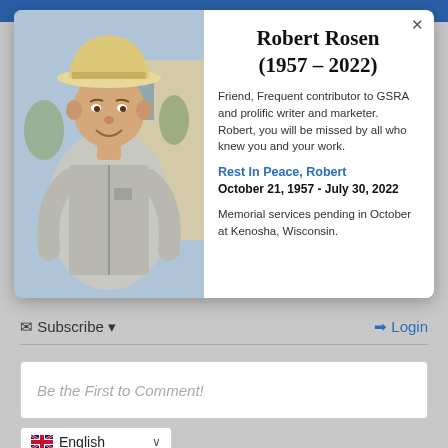[Figure (photo): Photograph of Robert Rosen, an older man wearing a white cowboy hat and a gray fleece vest, standing outdoors.]
Robert Rosen
(1957 - 2022)
Friend, Frequent contributor to GSRA and prolific writer and marketer. Robert, you will be missed by all who knew you and your work.
Rest In Peace, Robert
October 21, 1957 - July 30, 2022
Memorial services pending in October at Kenosha, Wisconsin.
Subscribe
Login
Be the First to Comment!
English